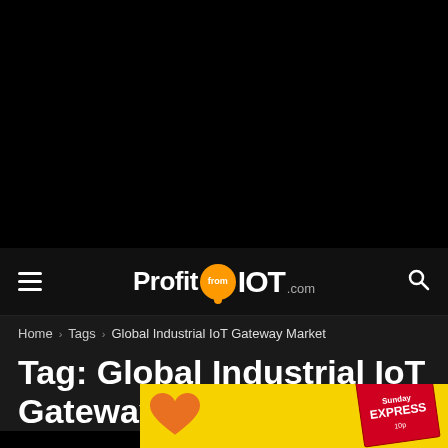[Figure (logo): ProfitFromIOT.com website logo on dark navigation bar with hamburger menu and search icon]
Home › Tags › Global Industrial IoT Gateway Market
Tag: Global Industrial IoT Gateway Market
[Figure (photo): Advertisement banner with yellow background, orange heart, and Daily Express newspaper cover]